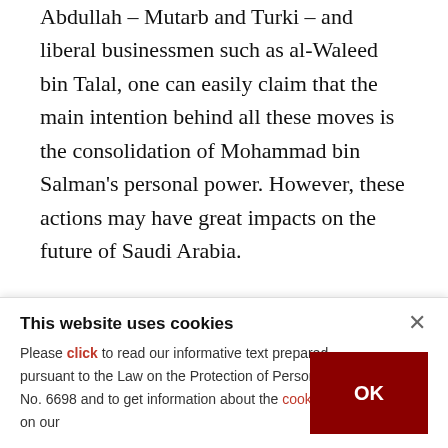Abdullah – Mutarb and Turki – and liberal businessmen such as al-Waleed bin Talal, one can easily claim that the main intention behind all these moves is the consolidation of Mohammad bin Salman's personal power. However, these actions may have great impacts on the future of Saudi Arabia.
By arresting strong political and economic actors and freezing their financial assets, Mohammad bin Salman takes risks through the restructure of the
This website uses cookies
Please click to read our informative text prepared pursuant to the Law on the Protection of Personal Data No. 6698 and to get information about the cookies used on our